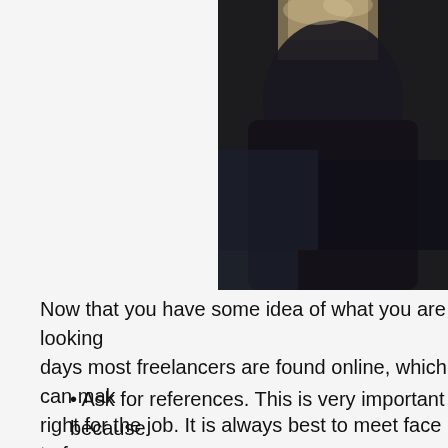[Figure (photo): A person dressed in dark/black clothing photographed from behind or side, with blurred background, partial view cropped on right side of page.]
Now that you have some idea of what you are looking days most freelancers are found online, which can mak right for the job. It is always best to meet face to face, w
Ask for references. This is very important because record and will be able to deliver on whatever you references this is cause for concern.